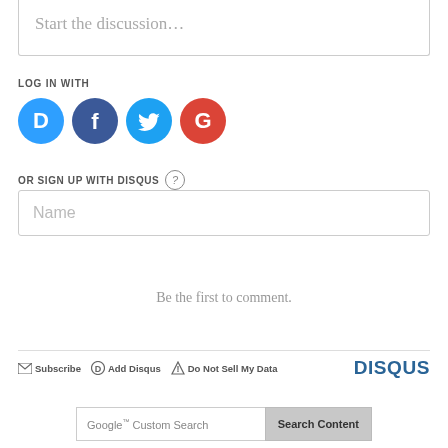Start the discussion…
LOG IN WITH
[Figure (illustration): Social login icons: Disqus (blue circle with D), Facebook (dark blue circle with f), Twitter (light blue circle with bird), Google (red circle with G)]
OR SIGN UP WITH DISQUS ?
Name
Be the first to comment.
✉ Subscribe  ⊙ Add Disqus  ⚠ Do Not Sell My Data  DISQUS
Google™ Custom Search  Search Content